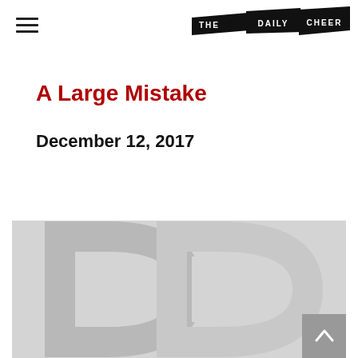THE DAILY CHEER
A Large Mistake
December 12, 2017
[Figure (illustration): Large decorative letter D watermark on a light gray background, with a scroll-to-top arrow button in the bottom-right corner]